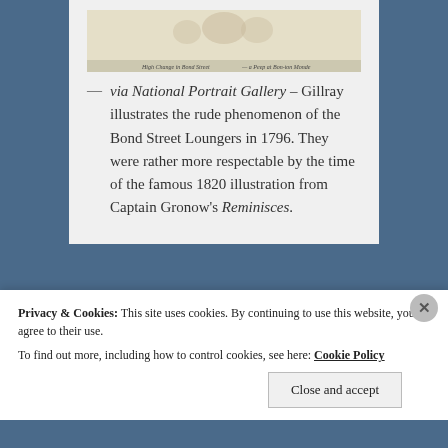[Figure (illustration): A historical engraving/illustration, partially visible at top, showing figures on a street scene. Caption text at bottom reads 'High Change in Bond Street' and 'a Peep at Bon-ton Monde'.]
— via National Portrait Gallery – Gillray illustrates the rude phenomenon of the Bond Street Loungers in 1796. They were rather more respectable by the time of the famous 1820 illustration from Captain Gronow's Reminisces.
Privacy & Cookies: This site uses cookies. By continuing to use this website, you agree to their use.
To find out more, including how to control cookies, see here: Cookie Policy